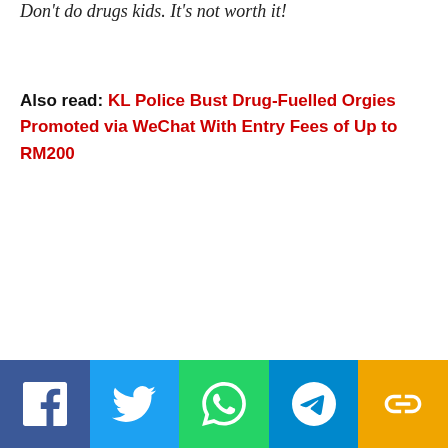Don't do drugs kids. It's not worth it!
Also read: KL Police Bust Drug-Fuelled Orgies Promoted via WeChat With Entry Fees of Up to RM200
[Figure (infographic): Social media share bar with Facebook, Twitter, WhatsApp, Telegram, and Link buttons]